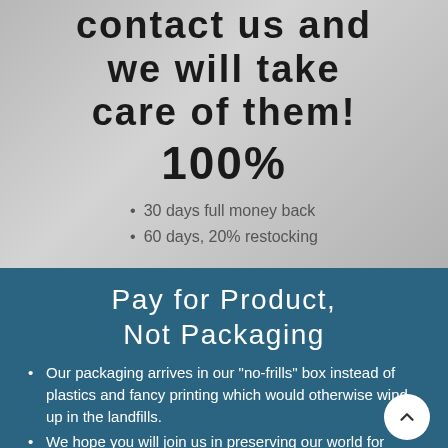contact us and we will take care of them! 100%
30 days full money back
60 days, 20% restocking
Pay for Product, Not Packaging
Our packaging arrives in our "no-frills" box instead of plastics and fancy printing which would otherwise wind up in the landfills.
We hope you will join us in preserving our world for future generations.